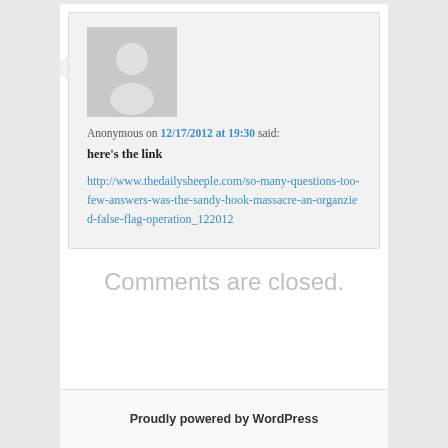Anonymous on 12/17/2012 at 19:30 said:
here's the link
http://www.thedailysheeple.com/so-many-questions-too-few-answers-was-the-sandy-hook-massacre-an-organzied-false-flag-operation_122012
Comments are closed.
Proudly powered by WordPress